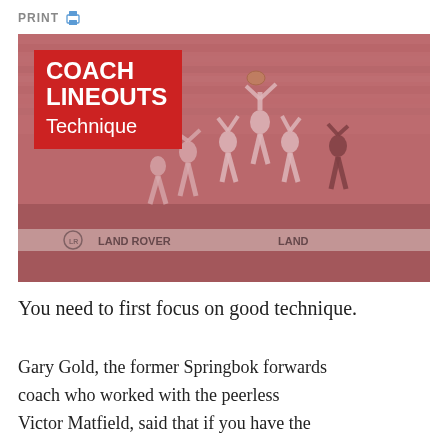PRINT
[Figure (photo): Rugby lineout scene in a stadium with a red-toned filter. Players lifting a jumper high in the air to catch the ball. Land Rover advertising boards visible in the background. A red badge overlay reads COACH LINEOUTS Technique.]
You need to first focus on good technique.
Gary Gold, the former Springbok forwards coach who worked with the peerless Victor Matfield, said that if you have the